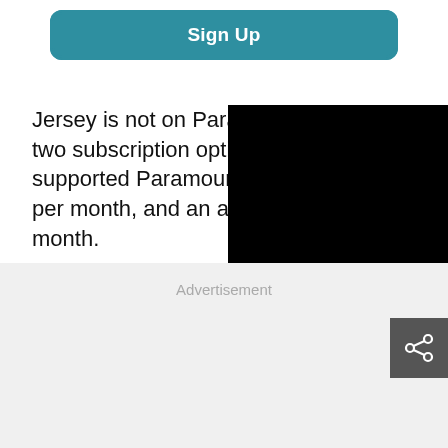[Figure (screenshot): Sign Up button with teal background and rounded border]
Jersey is not on Paramount Plu… two subscription options: the … supported Paramount+ Essen… per month, and an ad-free pre… month.
[Figure (photo): Black rectangle overlay covering right portion of text]
Advertisement
[Figure (other): Share icon button on dark grey background]